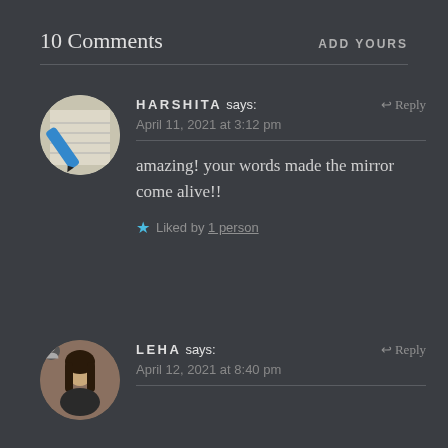10 Comments
ADD YOURS
HARSHITA says: April 11, 2021 at 3:12 pm
amazing! your words made the mirror come alive!!
Liked by 1 person
LEHA says: April 12, 2021 at 8:40 pm